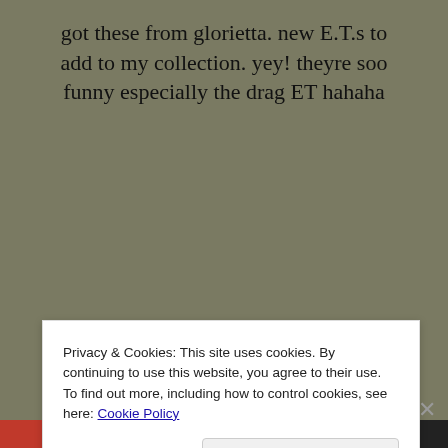got these from glorietta. new E.T.s to add to my collection. yey! theyre soo funny especially the drag ET hahaha
SHARE THE LOVE
[Figure (screenshot): Tweet and Email share buttons]
[Figure (screenshot): Like button with star icon and 'Be the first to like this.' text]
Privacy & Cookies: This site uses cookies. By continuing to use this website, you agree to their use. To find out more, including how to control cookies, see here: Cookie Policy
Close and accept